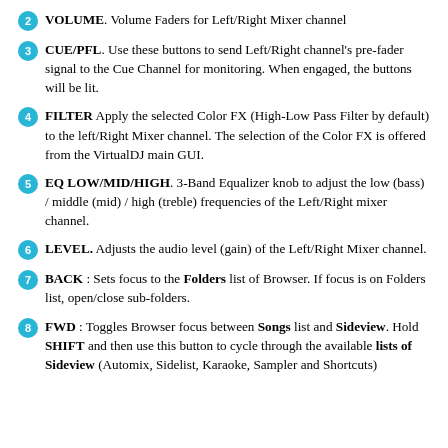2 VOLUME. Volume Faders for Left/Right Mixer channel
3 CUE/PFL. Use these buttons to send Left/Right channel's pre-fader signal to the Cue Channel for monitoring. When engaged, the buttons will be lit.
4 FILTER Apply the selected Color FX (High-Low Pass Filter by default) to the left/Right Mixer channel. The selection of the Color FX is offered from the VirtualDJ main GUI.
5 EQ LOW/MID/HIGH. 3-Band Equalizer knob to adjust the low (bass) / middle (mid) / high (treble) frequencies of the Left/Right mixer channel.
6 LEVEL. Adjusts the audio level (gain) of the Left/Right Mixer channel.
7 BACK : Sets focus to the Folders list of Browser. If focus is on Folders list, open/close sub-folders.
8 FWD : Toggles Browser focus between Songs list and Sideview. Hold SHIFT and then use this button to cycle through the available lists of Sideview (Automix, Sidelist, Karaoke, Sampler and Shortcuts)